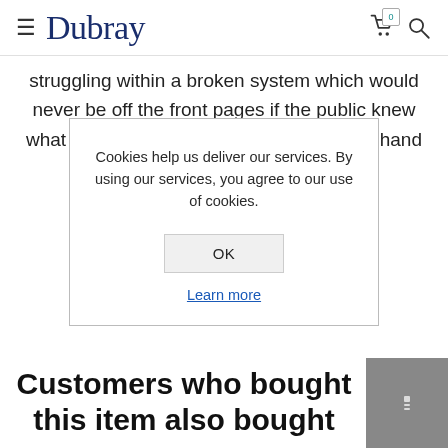≡ Dubray
struggling within a broken system which would never be off the front pages if the public knew what it was really like. Both a searing first-hand
Cookies help us deliver our services. By using our services, you agree to our use of cookies.
OK
Learn more
Customers who bought this item also bought